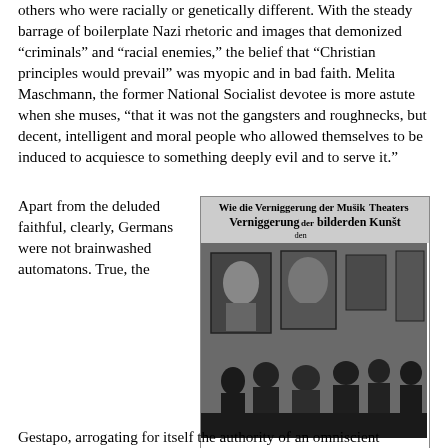others who were racially or genetically different. With the steady barrage of boilerplate Nazi rhetoric and images that demonized “criminals” and “racial enemies,” the belief that “Christian principles would prevail” was myopic and in bad faith. Melita Maschmann, the former National Socialist devotee is more astute when she muses, “that it was not the gangsters and roughnecks, but decent, intelligent and moral people who allowed themselves to be induced to acquiesce to something deeply evil and to serve it.”
[Figure (photo): Black and white photograph of people viewing artwork at the Degenerate Art Exhibition. A banner at the top reads Nazi propaganda text in German. Multiple framed artworks are visible on the walls.]
The demonization of the other in the Degenerate Art Exhibtion
Apart from the deluded faithful, clearly, Germans were not brainwashed automatons. True, the Gestapo, arrogating for itself the authority of an omniscient